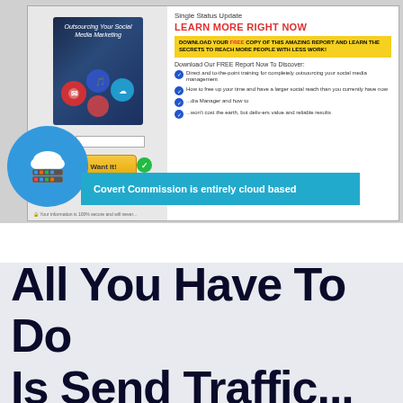[Figure (screenshot): Screenshot of a landing page for Covert Commission cloud-based software. Shows a social media marketing book cover, email opt-in form with 'Yes! I Want It!' button, and promotional text. A blue circle icon with cloud and server stack is shown overlaid on the bottom-left. A cyan banner reads 'Covert Commission is entirely cloud based'.]
All You Have To Do Is Send Traffic...